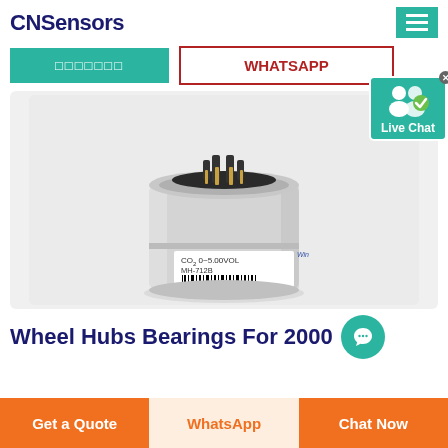CNSensors
[Figure (screenshot): Navigation buttons: teal button with Chinese characters and WHATSAPP button with dark red border]
[Figure (photo): CO2 sensor module, cylindrical silver aluminum housing, model MH-712B, range 0-5.00VOL, with connector pins on top and barcode label showing 2016110110002]
Wheel Hubs Bearings For 2000
[Figure (screenshot): Live Chat badge with two user icons and checkmark, teal background, close X button]
[Figure (screenshot): Bottom action bar with three buttons: Get a Quote (orange), WhatsApp (light peach with orange text), Chat Now (orange)]